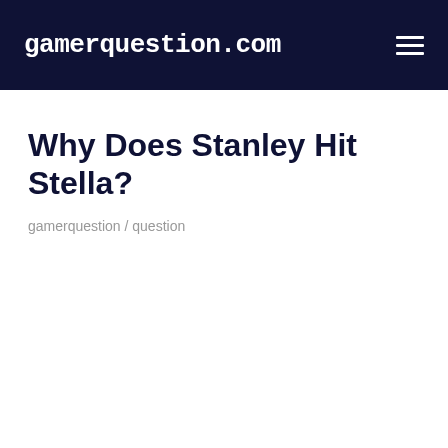gamerquestion.com
Why Does Stanley Hit Stella?
gamerquestion / question